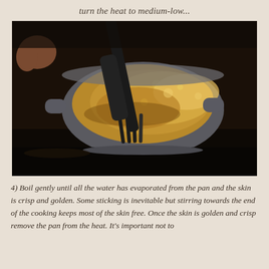turn the heat to medium-low...
[Figure (photo): A pot on a stove with chicken or meat being stirred with black tongs, cooking in sizzling liquid or fat. A hand is visible at the top left. The scene is dark with warm golden lighting on the food.]
4) Boil gently until all the water has evaporated from the pan and the skin is crisp and golden. Some sticking is inevitable but stirring towards the end of the cooking keeps most of the skin free. Once the skin is golden and crisp remove the pan from the heat. It's important not to